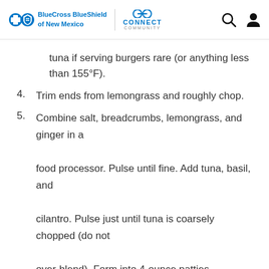BlueCross BlueShield of New Mexico — Connect Community
tuna if serving burgers rare (or anything less than 155°F).
4. Trim ends from lemongrass and roughly chop.
5. Combine salt, breadcrumbs, lemongrass, and ginger in a food processor. Pulse until fine. Add tuna, basil, and cilantro. Pulse just until tuna is coarsely chopped (do not over-blend). Form into 4-ounce patties.
6. Spray a nonstick pan with cooking spray and sear burgers over medium-high heat (~2 minutes on each side) until an internal temperature of 155°F is reached.
7. Place cooked burger on bottom bun, top with ¼ cup papaya